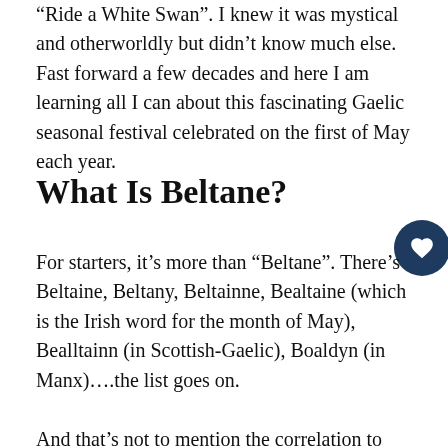“Ride a White Swan”. I knew it was mystical and otherworldly but didn’t know much else. Fast forward a few decades and here I am learning all I can about this fascinating Gaelic seasonal festival celebrated on the first of May each year.
What Is Beltane?
For starters, it’s more than “Beltane”. There’s Beltaine, Beltany, Beltainne, Bealtaine (which is the Irish word for the month of May), Bealltainn (in Scottish-Gaelic), Boaldyn (in Manx)….the list goes on.
And that’s not to mention the correlation to